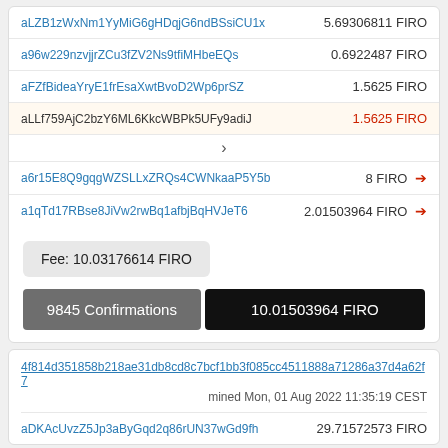| Address | Amount |
| --- | --- |
| aLZB1zWxNm1YyMiG6gHDqjG6ndBSsiCU1x | 5.69306811 FIRO |
| a96w229nzvjjrZCu3fZV2Ns9tfiMHbeEQs | 0.6922487 FIRO |
| aFZfBideaYryE1frEsaXwtBvoD2Wp6prSZ | 1.5625 FIRO |
| aLLf759AjC2bzY6ML6KkcWBPk5UFy9adiJ | 1.5625 FIRO |
| a6r15E8Q9gqgWZSLLxZRQs4CWNkaaP5Y5b | 8 FIRO → |
| a1qTd17RBse8JiVw2rwBq1afbjBqHVJeT6 | 2.01503964 FIRO → |
Fee: 10.03176614 FIRO
9845 Confirmations
10.01503964 FIRO
4f814d351858b218ae31db8cd8c7bcf1bb3f085cc4511888a71286a37d4a62f7
mined Mon, 01 Aug 2022 11:35:19 CEST
aDKAcUvzZ5Jp3aByGqd2q86rUN37wGd9fh
29.71572573 FIRO